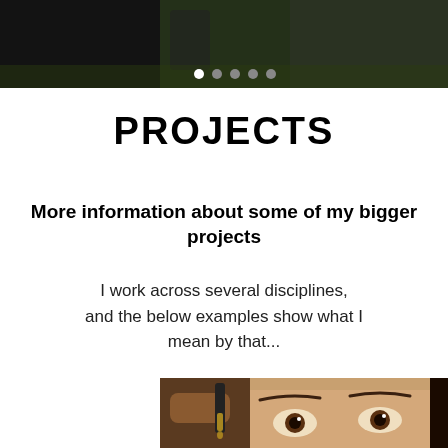[Figure (photo): Top banner image showing a dark outdoor scene with a person, with white and gray navigation dots overlay at the bottom]
PROJECTS
More information about some of my bigger projects
I work across several disciplines, and the below examples show what I mean by that...
[Figure (photo): Close-up photo of a woman's face looking up while a dropper with amber liquid is held near her eye]